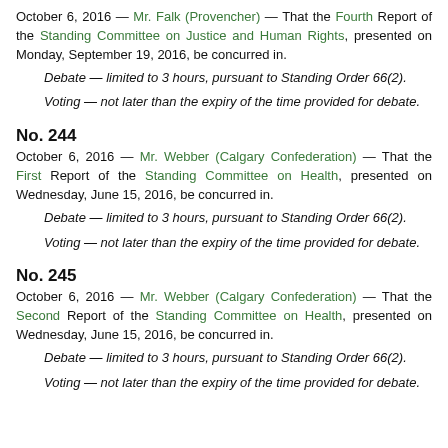October 6, 2016 — Mr. Falk (Provencher) — That the Fourth Report of the Standing Committee on Justice and Human Rights, presented on Monday, September 19, 2016, be concurred in.
Debate — limited to 3 hours, pursuant to Standing Order 66(2).
Voting — not later than the expiry of the time provided for debate.
No. 244
October 6, 2016 — Mr. Webber (Calgary Confederation) — That the First Report of the Standing Committee on Health, presented on Wednesday, June 15, 2016, be concurred in.
Debate — limited to 3 hours, pursuant to Standing Order 66(2).
Voting — not later than the expiry of the time provided for debate.
No. 245
October 6, 2016 — Mr. Webber (Calgary Confederation) — That the Second Report of the Standing Committee on Health, presented on Wednesday, June 15, 2016, be concurred in.
Debate — limited to 3 hours, pursuant to Standing Order 66(2).
Voting — not later than the expiry of the time provided for debate.